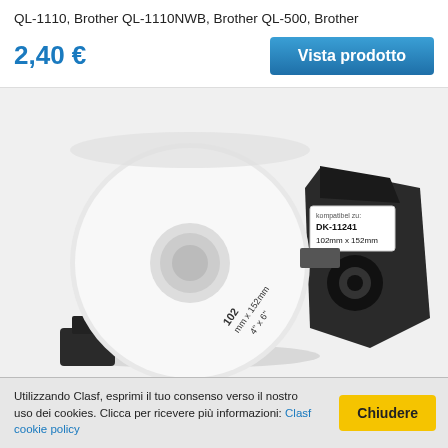QL-1110, Brother QL-1110NWB, Brother QL-500, Brother
2,40 €
Vista prodotto
[Figure (photo): Photo of a Brother DK-11241 label roll (102mm x 152mm, 4" x 6") mounted in a black plastic holder/spindle, showing the white label roll with text printed on it.]
Utilizzando Clasf, esprimi il tuo consenso verso il nostro uso dei cookies. Clicca per ricevere più informazioni: Clasf cookie policy
Chiudere